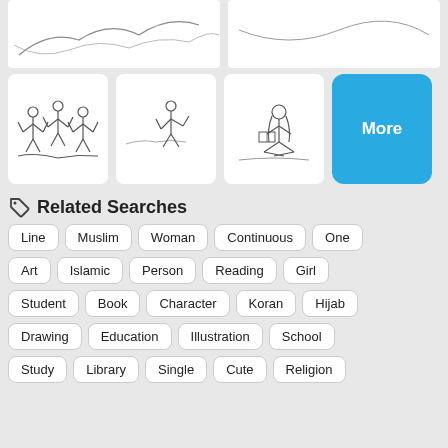[Figure (illustration): Two white image panels at top showing line art illustrations (partially visible)]
[Figure (illustration): Four image panels in middle row: three white panels with line art illustrations of people, and one blue 'More' button]
Related Searches
Line
Muslim
Woman
Continuous
One
Art
Islamic
Person
Reading
Girl
Student
Book
Character
Koran
Hijab
Drawing
Education
Illustration
School
Study
Library
Single
Cute
Religion